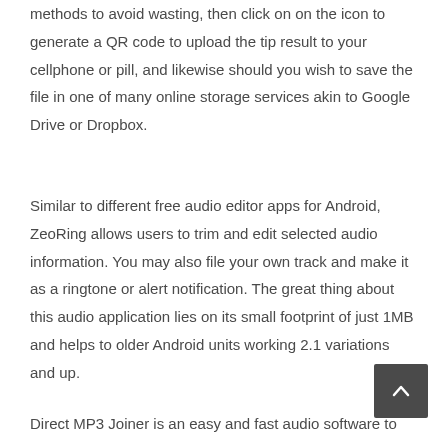methods to avoid wasting, then click on on the icon to generate a QR code to upload the tip result to your cellphone or pill, and likewise should you wish to save the file in one of many online storage services akin to Google Drive or Dropbox.
Similar to different free audio editor apps for Android, ZeoRing allows users to trim and edit selected audio information. You may also file your own track and make it as a ringtone or alert notification. The great thing about this audio application lies on its small footprint of just 1MB and helps to older Android units working 2.1 variations and up.
Direct MP3 Joiner is an easy and fast audio software to